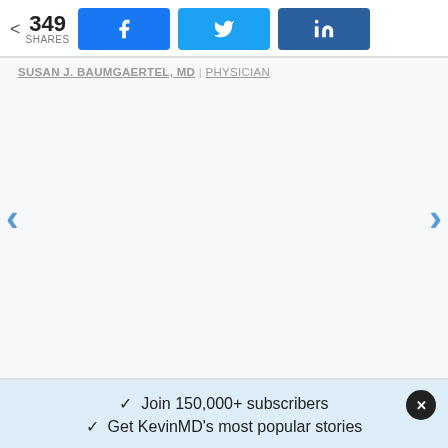< 349 SHARES
[Figure (screenshot): Social share buttons: Facebook (f icon), Twitter (bird icon), LinkedIn (in icon) in blue color scheme]
SUSAN J. BAUMGAERTEL, MD | PHYSICIAN
[Figure (screenshot): Blank content area with left and right navigation arrows (< and >) in blue]
✓ Join 150,000+ subscribers
✓ Get KevinMD's most popular stories
Email | Subscribe. It's free.